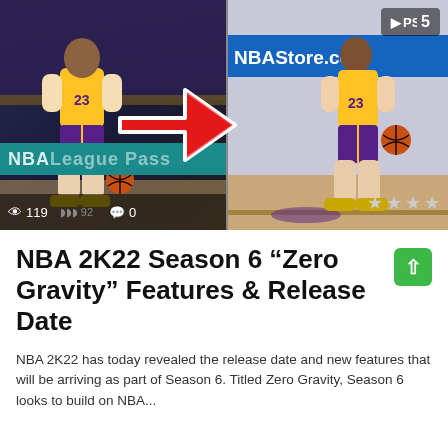[Figure (photo): Side-by-side comparison of NBA 2K22 vs real footage of LeBron James (#23) in Lakers uniform. Left panel shows real footage with crowd, right panel shows PS5 game graphics. A large red arrow points from left to right. Bottom left shows view count (119) and comment count (0). Bottom right shows star rating. PS5 logo visible top right.]
NBA 2K22 Season 6 “Zero Gravity” Features & Release Date
NBA 2K22 has today revealed the release date and new features that will be arriving as part of Season 6. Titled Zero Gravity, Season 6 looks to build on NBA...